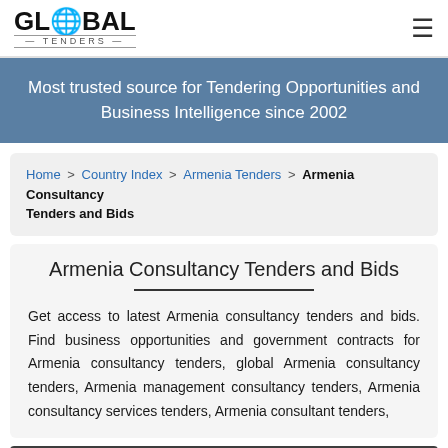[Figure (logo): Global Tenders logo with globe icon in the letter O and hamburger menu icon]
Most trusted source for Tendering Opportunities and Business Intelligence since 2002
Home > Country Index > Armenia Tenders > Armenia Consultancy Tenders and Bids
Armenia Consultancy Tenders and Bids
Get access to latest Armenia consultancy tenders and bids. Find business opportunities and government contracts for Armenia consultancy tenders, global Armenia consultancy tenders, Armenia management consultancy tenders, Armenia consultancy services tenders, Armenia consultant tenders,
30 Results